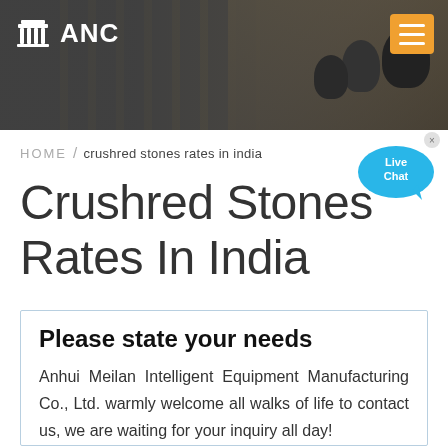[Figure (photo): Website header with ANC logo (pillar icon + ANC text) on left, hamburger menu button (orange) on right, background shows industrial factory/equipment on left and microphones on press conference setup on right]
HOME / crushred stones rates in india
Crushred Stones Rates In India
Please state your needs
Anhui Meilan Intelligent Equipment Manufacturing Co., Ltd. warmly welcome all walks of life to contact us, we are waiting for your inquiry all day!